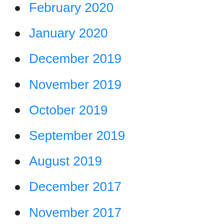February 2020
January 2020
December 2019
November 2019
October 2019
September 2019
August 2019
December 2017
November 2017
September 2017
June 2017
May 2017